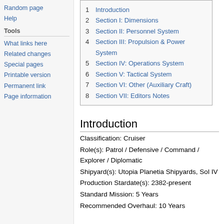Random page
Help
Tools
What links here
Related changes
Special pages
Printable version
Permanent link
Page information
| 1 | Introduction |
| 2 | Section I: Dimensions |
| 3 | Section II: Personnel System |
| 4 | Section III: Propulsion & Power System |
| 5 | Section IV: Operations System |
| 6 | Section V: Tactical System |
| 7 | Section VI: Other (Auxiliary Craft) |
| 8 | Section VII: Editors Notes |
Introduction
Classification: Cruiser
Role(s): Patrol / Defensive / Command / Explorer / Diplomatic
Shipyard(s): Utopia Planetia Shipyards, Sol IV
Production Stardate(s): 2382-present
Standard Mission: 5 Years
Recommended Overhaul: 10 Years